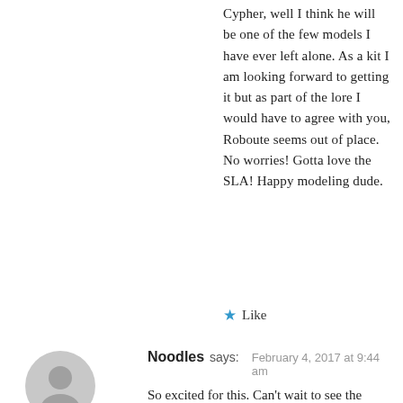Cypher, well I think he will be one of the few models I have ever left alone. As a kit I am looking forward to getting it but as part of the lore I would have to agree with you, Roboute seems out of place.
No worries! Gotta love the SLA! Happy modeling dude.
★ Like
[Figure (illustration): Gray circular avatar/user icon placeholder]
Noodles says: February 4, 2017 at 9:44 am
So excited for this. Can't wait to see the results.
The new "Daemon Primarch Roboute"